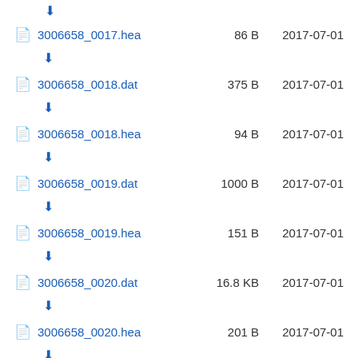3006658_0017.hea  86 B  2017-07-01
3006658_0018.dat  375 B  2017-07-01
3006658_0018.hea  94 B  2017-07-01
3006658_0019.dat  1000 B  2017-07-01
3006658_0019.hea  151 B  2017-07-01
3006658_0020.dat  16.8 KB  2017-07-01
3006658_0020.hea  201 B  2017-07-01
3006658_0021.dat  (partial)